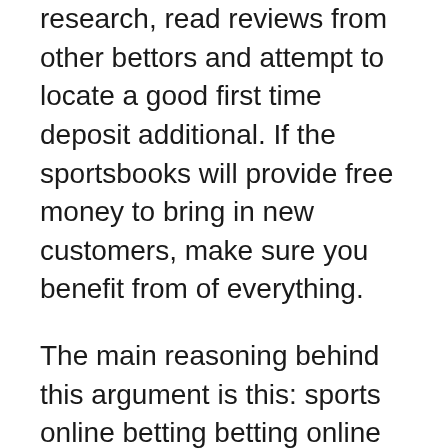research, read reviews from other bettors and attempt to locate a good first time deposit additional. If the sportsbooks will provide free money to bring in new customers, make sure you benefit from of everything.
The main reasoning behind this argument is this: sports online betting betting online mixes two great pastimes into one, pulling from best of both of those. The thrill of gaming itself is mixed with the excitement for being a sport spectator and creates an experience that greatly surpasses either of the person parts.
Leaving aside Online NFL Betting, gambling in sports by is an age-old addiction with gamers. Predicting sports results and betting on nothing at all is as old as the sport, and people simply